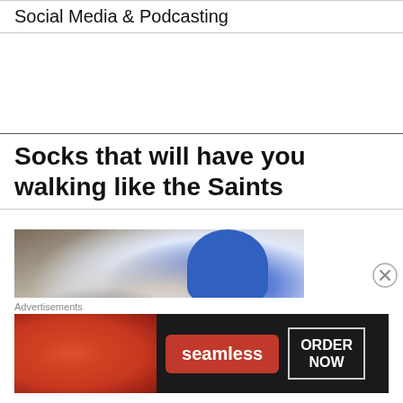Social Media & Podcasting
Socks that will have you walking like the Saints
[Figure (photo): Photo of two feet wearing blue and white socks with cursive text reading 'all things, eat love' on the sole, lying on a bed]
Advertisements
[Figure (screenshot): Seamless food delivery advertisement banner showing pizza on dark background with 'seamless' red logo button and 'ORDER NOW' bordered button]